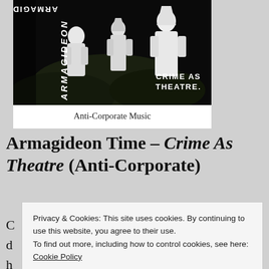[Figure (photo): Album cover for Armagideon Time – Crime As Theatre on Anti-Corporate Music. Black and white photo of three figures in white robes/cloaks on a dark background. Vertical text 'ARMAGIDEON' on left side, 'CRIME AS THEATRE' text in bottom right.]
Anti-Corporate Music
Armagideon Time – Crime As Theatre (Anti-Corporate)
Privacy & Cookies: This site uses cookies. By continuing to use this website, you agree to their use.
To find out more, including how to control cookies, see here: Cookie Policy